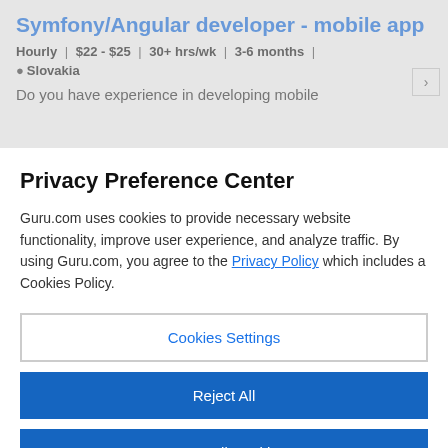Symfony/Angular developer - mobile app
Hourly | $22 - $25 | 30+ hrs/wk | 3-6 months | Slovakia
Do you have experience in developing mobile
Privacy Preference Center
Guru.com uses cookies to provide necessary website functionality, improve user experience, and analyze traffic. By using Guru.com, you agree to the Privacy Policy which includes a Cookies Policy.
Cookies Settings
Reject All
Accept All Cookies